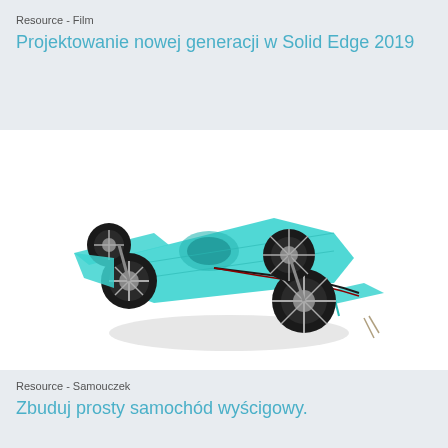Resource - Film
Projektowanie nowej generacji w Solid Edge 2019
[Figure (illustration): 3D CAD model of a transparent turquoise/cyan formula-style racing car with black wheels, showing internal components including wiring harness in red and black, rendered in Solid Edge software]
Resource - Samouczek
Zbuduj prosty samochód wyścigowy.